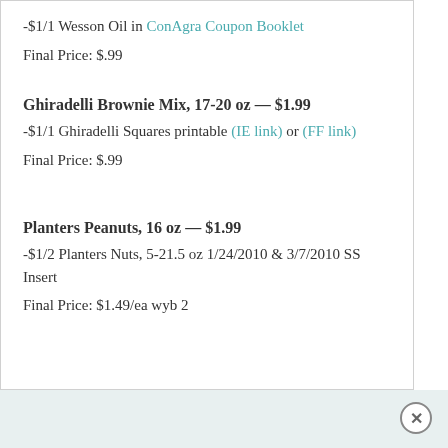-$1/1 Wesson Oil in ConAgra Coupon Booklet
Final Price:  $.99
Ghiradelli Brownie Mix, 17-20 oz — $1.99
-$1/1 Ghiradelli Squares printable (IE link) or (FF link)
Final Price:  $.99
Planters Peanuts, 16 oz — $1.99
-$1/2 Planters Nuts, 5-21.5 oz 1/24/2010 & 3/7/2010 SS Insert
Final Price:  $1.49/ea wyb 2